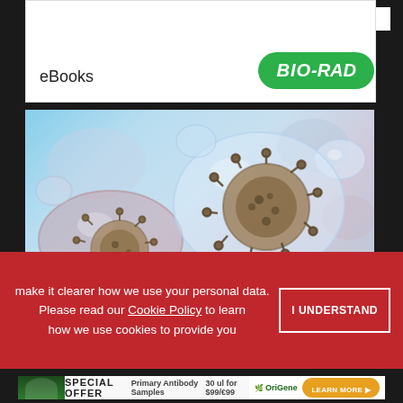The Components of Effective qPCR
eBooks
[Figure (logo): BIO-RAD green rounded rectangle logo]
[Figure (photo): Microscopic illustration of virus particles (coronavirus-like) enclosed in transparent spherical bubbles on a blue background]
make it clearer how we use your personal data.
Please read our Cookie Policy to learn how we use cookies to provide you
[Figure (infographic): I UNDERSTAND button on red cookie consent overlay banner]
[Figure (infographic): OriGene SPECIAL OFFER advertisement banner - Primary Antibody Samples 30 ul for $99/€99 with LEARN MORE button]
ADVERTISEMENT